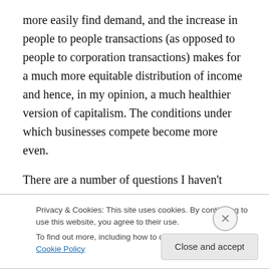more easily find demand, and the increase in people to people transactions (as opposed to people to corporation transactions) makes for a much more equitable distribution of income and hence, in my opinion, a much healthier version of capitalism. The conditions under which businesses compete become more even.
There are a number of questions I haven't addressed here, including how due you ensure that Granny's kitchen is actually safe: after all, restaurants need permits to operate and must be subject to random inspections in
Privacy & Cookies: This site uses cookies. By continuing to use this website, you agree to their use.
To find out more, including how to control cookies, see here: Cookie Policy